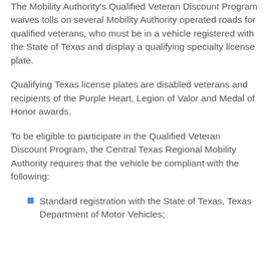The Mobility Authority's Qualified Veteran Discount Program waives tolls on several Mobility Authority operated roads for qualified veterans, who must be in a vehicle registered with the State of Texas and display a qualifying specialty license plate.
Qualifying Texas license plates are disabled veterans and recipients of the Purple Heart, Legion of Valor and Medal of Honor awards.
To be eligible to participate in the Qualified Veteran Discount Program, the Central Texas Regional Mobility Authority requires that the vehicle be compliant with the following:
Standard registration with the State of Texas, Texas Department of Motor Vehicles;